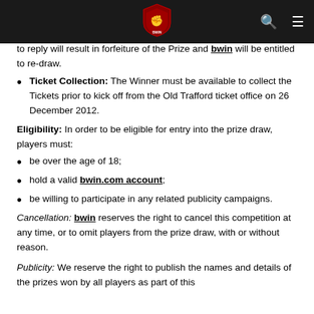bwin logo and navigation header
to reply will result in forfeiture of the Prize and bwin will be entitled to re-draw.
Ticket Collection: The Winner must be available to collect the Tickets prior to kick off from the Old Trafford ticket office on 26 December 2012.
Eligibility: In order to be eligible for entry into the prize draw, players must:
be over the age of 18;
hold a valid bwin.com account;
be willing to participate in any related publicity campaigns.
Cancellation: bwin reserves the right to cancel this competition at any time, or to omit players from the prize draw, with or without reason.
Publicity: We reserve the right to publish the names and details of the prizes won by all players as part of this